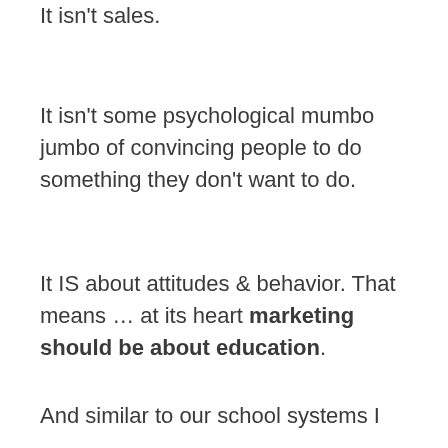It isn't sales.
It isn't some psychological mumbo jumbo of convincing people to do something they don't want to do.
It IS about attitudes & behavior. That means … at its heart marketing should be about education.
And similar to our school systems I